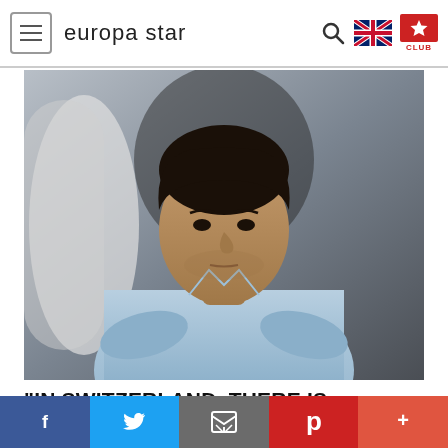europa star
[Figure (photo): Portrait photo of a man in a light blue shirt, arms crossed, against a grey background with a curved white/black shape]
"IN SWITZERLAND, THERE IS FINTECH AND MEDTECH BUT NO LUXTECH"
[Figure (infographic): Social sharing bar with Facebook, Twitter, Email, Pinterest, and More buttons]